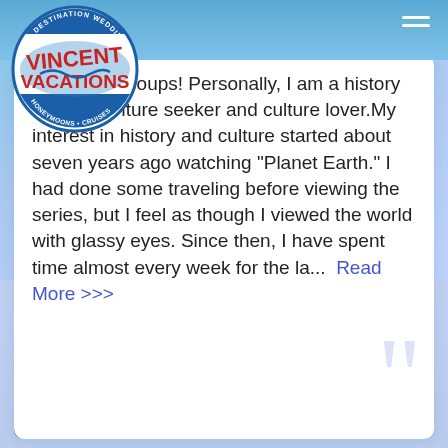[Figure (logo): Vincent Vacations logo — circular badge with 'DESTINATION WEDDINGS', 'HONEYMOONS • CRUISES', wave motif, red bold VINCENT VACATIONS text]
...uples and groups! Personally, I am a history buff, adventure seeker and culture lover. My interest in history and culture started about seven years ago watching "Planet Earth." I had done some traveling before viewing the series, but I feel as though I viewed the world with glassy eyes. Since then, I have spent time almost every week for the la...  Read More >>>
Enter Email
Sign-Up For My Newsletter!